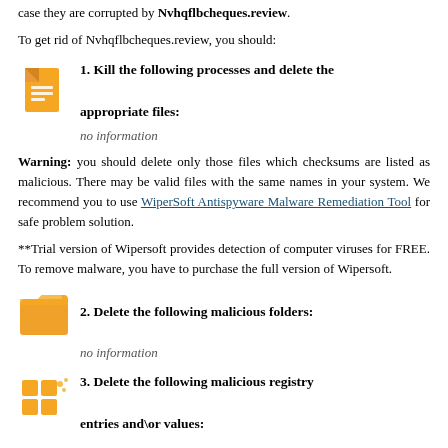case they are corrupted by Nvhqflbcheques.review.
To get rid of Nvhqflbcheques.review, you should:
1. Kill the following processes and delete the appropriate files:
no information
Warning: you should delete only those files which checksums are listed as malicious. There may be valid files with the same names in your system. We recommend you to use WiperSoft Antispyware Malware Remediation Tool for safe problem solution.
**Trial version of Wipersoft provides detection of computer viruses for FREE. To remove malware, you have to purchase the full version of Wipersoft.
2. Delete the following malicious folders:
no information
3. Delete the following malicious registry entries and\or values: